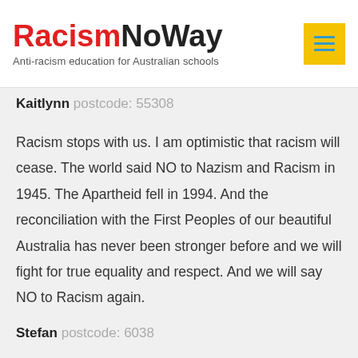RacismNoWay — Anti-racism education for Australian schools
Kaitlynn postcode: 55308
Racism stops with us. I am optimistic that racism will cease. The world said NO to Nazism and Racism in 1945. The Apartheid fell in 1994. And the reconciliation with the First Peoples of our beautiful Australia has never been stronger before and we will fight for true equality and respect. And we will say NO to Racism again.
Stefan postcode: 6038